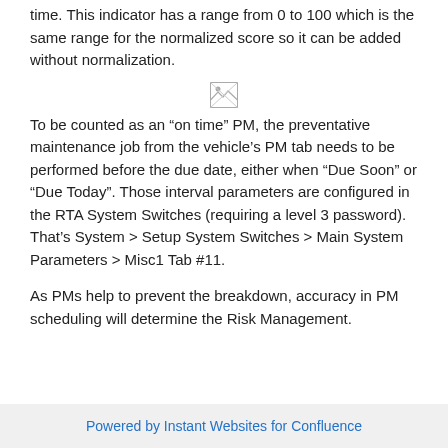time. This indicator has a range from 0 to 100 which is the same range for the normalized score so it can be added without normalization.
[Figure (photo): Broken/missing image placeholder icon]
To be counted as an “on time” PM, the preventative maintenance job from the vehicle’s PM tab needs to be performed before the due date, either when “Due Soon” or “Due Today”. Those interval parameters are configured in the RTA System Switches (requiring a level 3 password). That’s System > Setup System Switches > Main System Parameters > Misc1 Tab #11.
As PMs help to prevent the breakdown, accuracy in PM scheduling will determine the Risk Management.
Powered by Instant Websites for Confluence